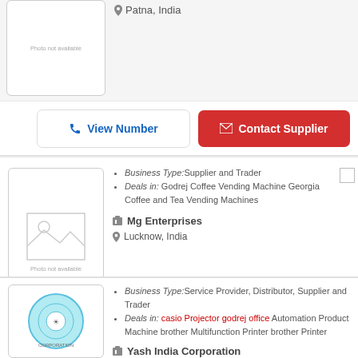[Figure (photo): Photo not available placeholder for supplier 1 (Patna, India)]
Patna, India
View Number
Contact Supplier
Business Type: Supplier and Trader
Deals in: Godrej Coffee Vending Machine Georgia Coffee and Tea Vending Machines
Mg Enterprises
Lucknow, India
[Figure (photo): Photo not available placeholder for Mg Enterprises]
View Number
Contact Supplier
Business Type: Service Provider, Distributor, Supplier and Trader
Deals in: casio Projector godrej office Automation Product Machine brother Multifunction Printer brother Printer
Yash India Corporation